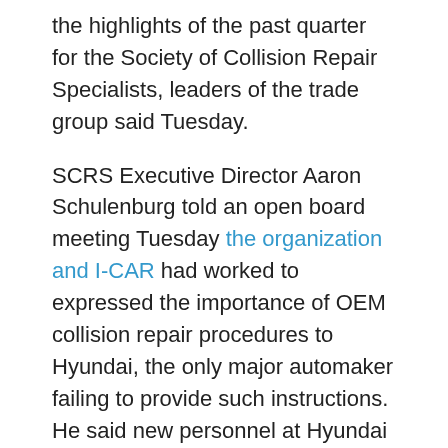the highlights of the past quarter for the Society of Collision Repair Specialists, leaders of the trade group said Tuesday.
SCRS Executive Director Aaron Schulenburg told an open board meeting Tuesday the organization and I-CAR had worked to expressed the importance of OEM collision repair procedures to Hyundai, the only major automaker failing to provide such instructions. He said new personnel at Hyundai had been a “great resource,” and such communications were highlighted by the “recent success” of the OEM releasing two position statements.